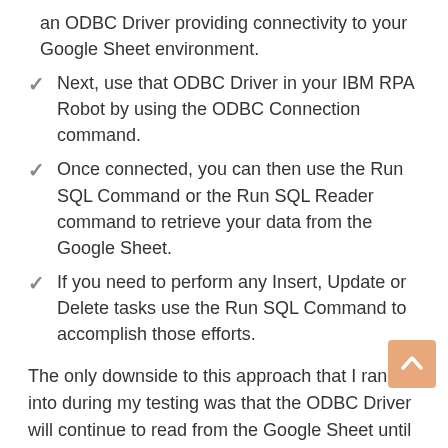an ODBC Driver providing connectivity to your Google Sheet environment.
Next, use that ODBC Driver in your IBM RPA Robot by using the ODBC Connection command.
Once connected, you can then use the Run SQL Command or the Run SQL Reader command to retrieve your data from the Google Sheet.
If you need to perform any Insert, Update or Delete tasks use the Run SQL Command to accomplish those efforts.
The only downside to this approach that I ran into during my testing was that the ODBC Driver will continue to read from the Google Sheet until it encounters a blank line. Other than that, this approach worked great.
This is one example of using RPA with a cloud